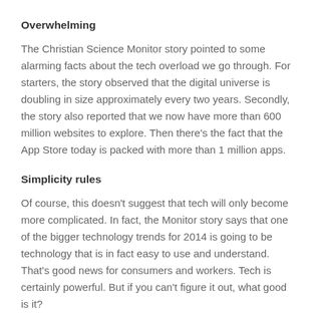Overwhelming
The Christian Science Monitor story pointed to some alarming facts about the tech overload we go through. For starters, the story observed that the digital universe is doubling in size approximately every two years. Secondly, the story also reported that we now have more than 600 million websites to explore. Then there's the fact that the App Store today is packed with more than 1 million apps.
Simplicity rules
Of course, this doesn't suggest that tech will only become more complicated. In fact, the Monitor story says that one of the bigger technology trends for 2014 is going to be technology that is in fact easy to use and understand. That's good news for consumers and workers. Tech is certainly powerful. But if you can't figure it out, what good is it?
Apple, Google lead the way